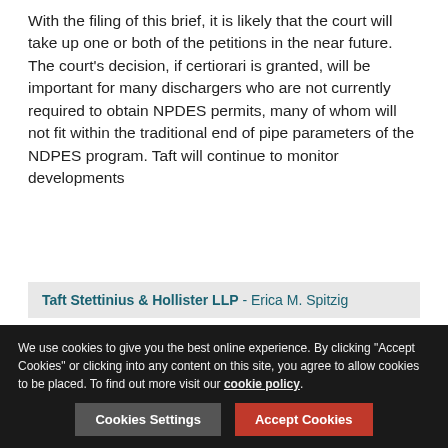With the filing of this brief, it is likely that the court will take up one or both of the petitions in the near future. The court's decision, if certiorari is granted, will be important for many dischargers who are not currently required to obtain NPDES permits, many of whom will not fit within the traditional end of pipe parameters of the NDPES program. Taft will continue to monitor developments
Taft Stettinius & Hollister LLP - Erica M. Spitzig
[Figure (other): Row of action icons: save, edit/open, email, print, share, add, thumbs up — separated by vertical dividers]
Filed under
We use cookies to give you the best online experience. By clicking "Accept Cookies" or clicking into any content on this site, you agree to allow cookies to be placed. To find out more visit our cookie policy.